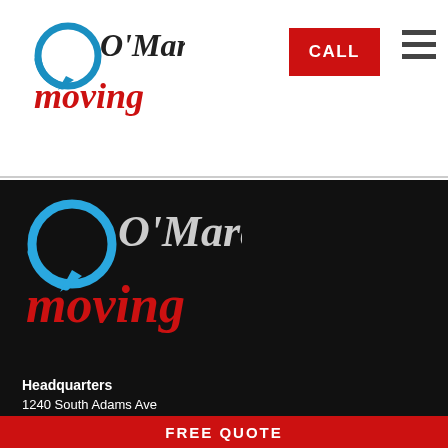[Figure (logo): O'Mara moving logo in header — circular arrow icon in blue, 'O'Mara' in dark serif, 'moving' in red serif italic]
CALL
[Figure (other): Hamburger menu icon — three horizontal dark lines]
[Figure (logo): O'Mara moving logo on dark background — circular arrow icon in blue, 'O'Mara' in dark serif, 'moving' in red serif italic, larger version]
Headquarters
1240 South Adams Ave
Freeport, IL 61032
(800) 673-8244
US D.O.T #144182 -- IL CC 5095
Services
Residential Movers
FREE QUOTE